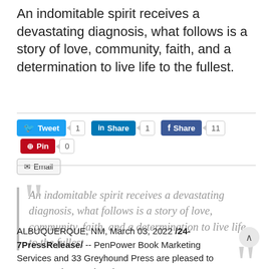An indomitable spirit receives a devastating diagnosis, what follows is a story of love, community, faith, and a determination to live life to the fullest.
[Figure (screenshot): Social sharing buttons: Tweet (1), Share on LinkedIn (1), Share on Facebook (11), Pin (0), Email]
"An indomitable spirit receives a devastating diagnosis, what follows is a story of love, community, faith, and a determination to live life to the fullest"
ALBUQUERQUE, NM, March 03, 2022 /24-7PressRelease/ -- PenPower Book Marketing Services and 33 Greyhound Press are pleased to announce the March 3rd